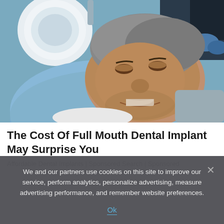[Figure (photo): A middle-aged man with gray hair reclining in a dental chair, smiling, wearing a light blue dental bib. A dental lamp is visible overhead. A dentist in dark clothing and blue gloves is partially visible in the background.]
The Cost Of Full Mouth Dental Implant May Surprise You
Affordable Dental Implants | Sponsored Search | Sponsored
We and our partners use cookies on this site to improve our service, perform analytics, personalize advertising, measure advertising performance, and remember website preferences.
Ok